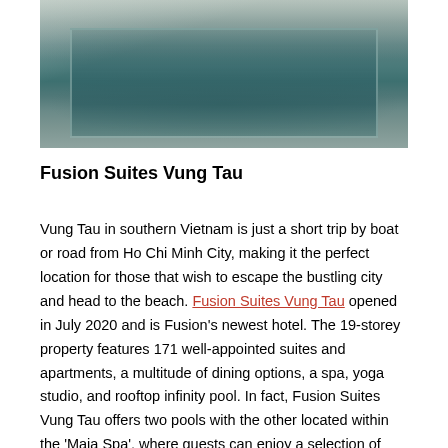[Figure (photo): Aerial/angled view of a rectangular swimming pool with dark teal water, surrounded by white marble/tile decking, with lush green tropical vegetation on the right side. Appears to be a rooftop or outdoor pool at a luxury hotel.]
Fusion Suites Vung Tau
Vung Tau in southern Vietnam is just a short trip by boat or road from Ho Chi Minh City, making it the perfect location for those that wish to escape the bustling city and head to the beach. Fusion Suites Vung Tau opened in July 2020 and is Fusion's newest hotel. The 19-storey property features 171 well-appointed suites and apartments, a multitude of dining options, a spa, yoga studio, and rooftop infinity pool. In fact, Fusion Suites Vung Tau offers two pools with the other located within the 'Maia Spa', where guests can enjoy a selection of signature therapies based around salt